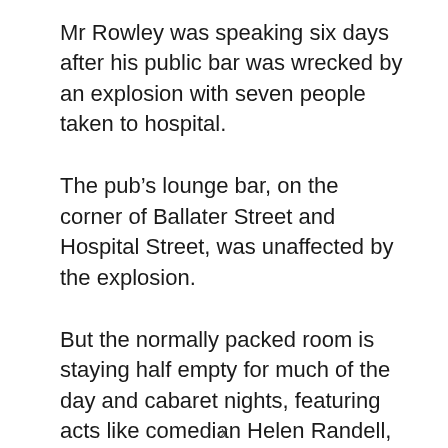Mr Rowley was speaking six days after his public bar was wrecked by an explosion with seven people taken to hospital.
The pub's lounge bar, on the corner of Ballater Street and Hospital Street, was unaffected by the explosion.
But the normally packed room is staying half empty for much of the day and cabaret nights, featuring acts like comedian Helen Randell, are being threatened by cancellations.